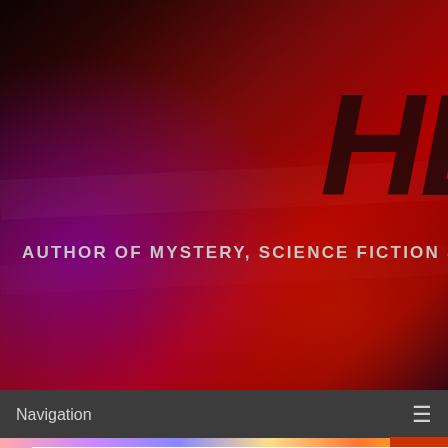[Figure (illustration): Website header banner with dark red and purple gradient background, featuring large italic bold text 'HE' in dark color on the right side, and subtitle text 'AUTHOR OF MYSTERY, SCIENCE FICTION & FANTASY' below in light grey uppercase letters.]
Navigation
Talk Nerdy To Me: Featuring Jennifer Estep